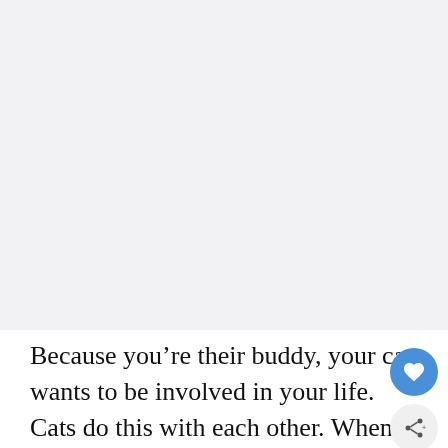[Figure (other): Large blank/white-gray image placeholder area occupying the top portion of the page]
Because you’re their buddy, your cat wants to be involved in your life. Cats do this with each other. When one cat gets up to do something,